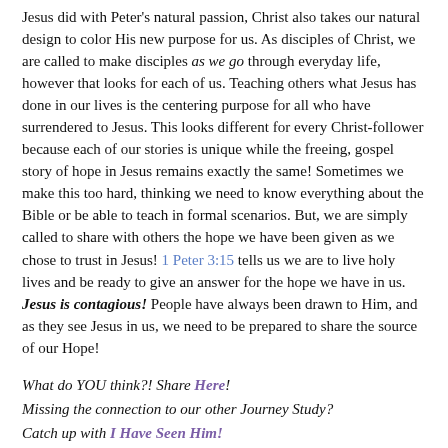Jesus did with Peter's natural passion, Christ also takes our natural design to color His new purpose for us. As disciples of Christ, we are called to make disciples as we go through everyday life, however that looks for each of us. Teaching others what Jesus has done in our lives is the centering purpose for all who have surrendered to Jesus. This looks different for every Christ-follower because each of our stories is unique while the freeing, gospel story of hope in Jesus remains exactly the same! Sometimes we make this too hard, thinking we need to know everything about the Bible or be able to teach in formal scenarios. But, we are simply called to share with others the hope we have been given as we chose to trust in Jesus! 1 Peter 3:15 tells us we are to live holy lives and be ready to give an answer for the hope we have in us. Jesus is contagious! People have always been drawn to Him, and as they see Jesus in us, we need to be prepared to share the source of our Hope!
What do YOU think?! Share Here!
Missing the connection to our other Journey Study?
Catch up with I Have Seen Him!